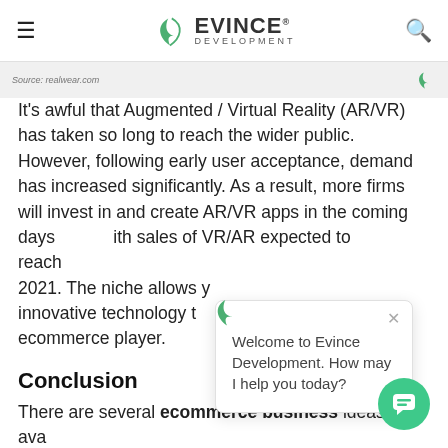Evince Development
Source: realwear.com
It's awful that Augmented / Virtual Reality (AR/VR) has taken so long to reach the wider public. However, following early user acceptance, demand has increased significantly. As a result, more firms will invest in and create AR/VR apps in the coming days with sales of VR/AR expected to reach 2021. The niche allows you innovative technology to ecommerce player.
Conclusion
There are several ecommerce business ideas available nowadays. Some are valuable to pursue, while others